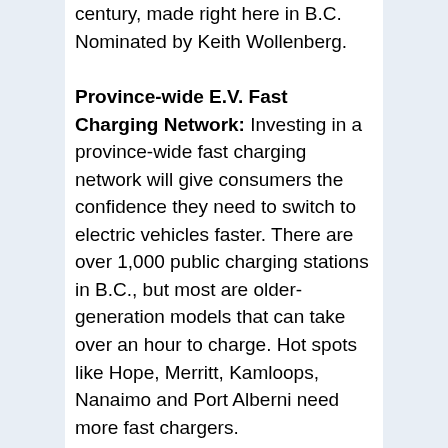century, made right here in B.C. Nominated by Keith Wollenberg.
Province-wide E.V. Fast Charging Network: Investing in a province-wide fast charging network will give consumers the confidence they need to switch to electric vehicles faster. There are over 1,000 public charging stations in B.C., but most are older-generation models that can take over an hour to charge. Hot spots like Hope, Merritt, Kamloops, Nanaimo and Port Alberni need more fast chargers.
Using logging waste to replace